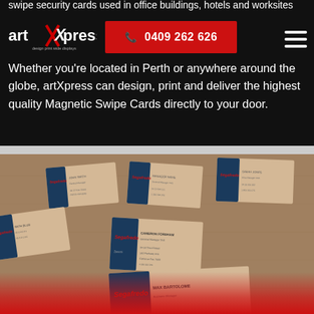swipe security cards used in office buildings, hotels and worksites
[Figure (logo): artXpress logo with red X mark and tagline 'design print wide displays']
📞 0409 262 626
Whether you're located in Perth or anywhere around the globe, artXpress can design, print and deliver the highest quality Magnetic Swipe Cards directly to your door.
[Figure (photo): Multiple Segafredo branded business card stacks arranged on a wooden table surface, with red gradient at the bottom of the image]